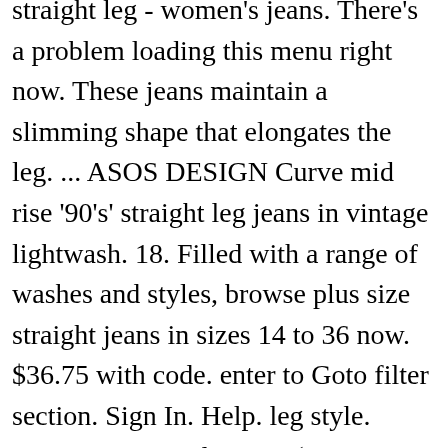straight leg - women's jeans. There's a problem loading this menu right now. These jeans maintain a slimming shape that elongates the leg. ... ASOS DESIGN Curve mid rise '90's' straight leg jeans in vintage lightwash. 18. Filled with a range of washes and styles, browse plus size straight jeans in sizes 14 to 36 now. $36.75 with code. enter to Goto filter section. Sign In. Help. leg style. Women's jeans Plus-size (260 products) 260 products. It's easy to find your favorite wash or color (including lots of classic black and bold